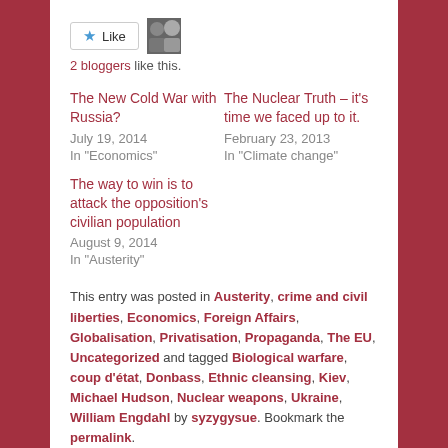[Figure (other): Like button with star icon and two blogger avatar thumbnails]
2 bloggers like this.
The New Cold War with Russia?
July 19, 2014
In "Economics"
The Nuclear Truth – it's time we faced up to it.
February 23, 2013
In "Climate change"
The way to win is to attack the opposition's civilian population
August 9, 2014
In "Austerity"
This entry was posted in Austerity, crime and civil liberties, Economics, Foreign Affairs, Globalisation, Privatisation, Propaganda, The EU, Uncategorized and tagged Biological warfare, coup d'état, Donbass, Ethnic cleansing, Kiev, Michael Hudson, Nuclear weapons, Ukraine, William Engdahl by syzygysue. Bookmark the permalink.